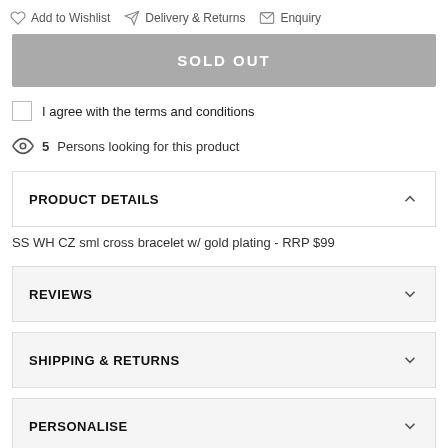Add to Wishlist   Delivery & Returns   Enquiry
SOLD OUT
I agree with the terms and conditions
5 Persons looking for this product
PRODUCT DETAILS
SS WH CZ sml cross bracelet w/ gold plating - RRP $99
REVIEWS
SHIPPING & RETURNS
PERSONALISE